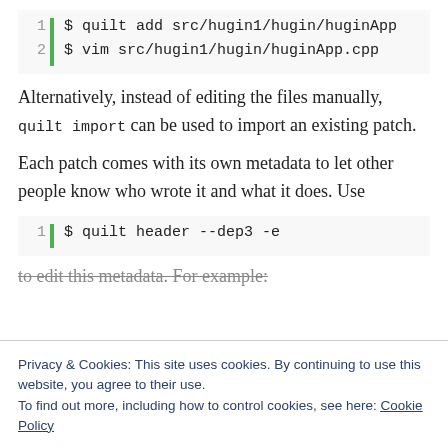[Figure (screenshot): Code block with two lines: '$ quilt add src/hugin1/hugin/huginApp...' and '$ vim src/hugin1/hugin/huginApp.cpp' with line numbers 1 and 2 and green vertical bar]
Alternatively, instead of editing the files manually, quilt import can be used to import an existing patch.
Each patch comes with its own metadata to let other people know who wrote it and what it does. Use
[Figure (screenshot): Code block with one line: '$ quilt header --dep3 -e' with line number 1 and green vertical bar]
to edit this metadata. For example:
Privacy & Cookies: This site uses cookies. By continuing to use this website, you agree to their use.
To find out more, including how to control cookies, see here: Cookie Policy
[Figure (screenshot): Partial code line at bottom: 'This patch header follows DEP-3: http' with line number 7 and green vertical bar]